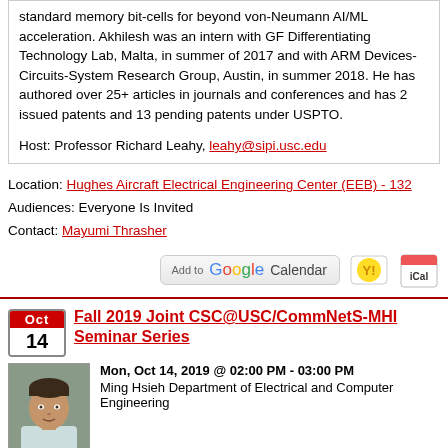standard memory bit-cells for beyond von-Neumann AI/ML acceleration. Akhilesh was an intern with GF Differentiating Technology Lab, Malta, in summer of 2017 and with ARM Devices-Circuits-System Research Group, Austin, in summer 2018. He has authored over 25+ articles in journals and conferences and has 2 issued patents and 13 pending patents under USPTO.
Host: Professor Richard Leahy, leahy@sipi.usc.edu
Location: Hughes Aircraft Electrical Engineering Center (EEB) - 132
Audiences: Everyone Is Invited
Contact: Mayumi Thrasher
[Figure (other): Add to Google Calendar, Yahoo Calendar, and iCal buttons]
Fall 2019 Joint CSC@USC/CommNetS-MHI Seminar Series
[Figure (photo): Headshot photo of male speaker]
Mon, Oct 14, 2019 @ 02:00 PM - 03:00 PM
Ming Hsieh Department of Electrical and Computer Engineering